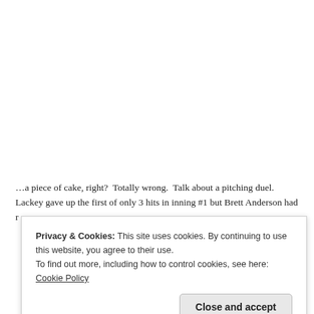…a piece of cake, right?  Totally wrong.  Talk about a pitching duel. Lackey gave up the first of only 3 hits in inning #1 but Brett Anderson had r…
Privacy & Cookies: This site uses cookies. By continuing to use this website, you agree to their use. To find out more, including how to control cookies, see here: Cookie Policy
Close and accept